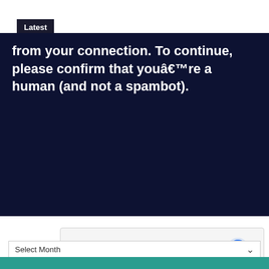Latest Video
from your connection. To continue, please confirm that youâ€™re a human (and not a spambot).
[Figure (screenshot): reCAPTCHA widget with checkbox labeled I'm not a robot]
Archives
Select Month